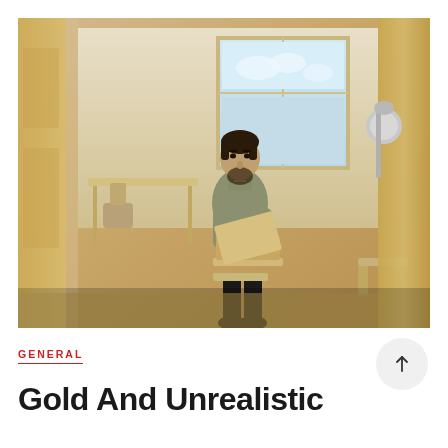[Figure (photo): A man with a beard wearing a gray polo shirt sits at a desk working on a laptop in an office environment, photographed through a partially open wooden door with a door handle visible on the right.]
GENERAL
Gold And Unrealistic